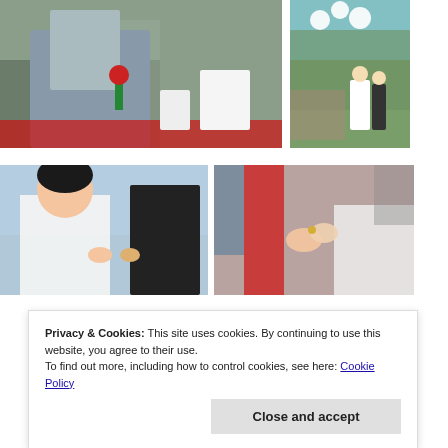[Figure (photo): Man in gray suit seated at outdoor wedding ceremony holding a red rose, red carpet visible]
[Figure (photo): Outdoor wedding ceremony with bride in white dress, white balloon decorations, guests gathered on green lawn]
[Figure (photo): Bride smiling at groom during ring exchange at outdoor wedding, close-up]
[Figure (photo): Close-up of ring exchange at outdoor wedding with red decorations in background, blurred crowd]
Privacy & Cookies: This site uses cookies. By continuing to use this website, you agree to their use.
To find out more, including how to control cookies, see here: Cookie Policy
Close and accept